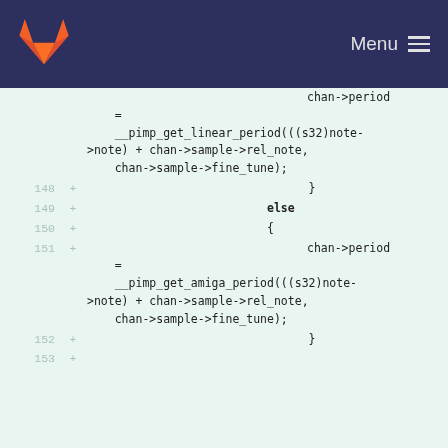Menu
[Figure (screenshot): GitLab navbar with fox logo and Menu hamburger icon on dark navy background]
chan->period
    =
    __pimp_get_linear_period(((s32)note->note) + chan->sample->rel_note,
    chan->sample->fine_tune);
148 +     }
149 +     else
150 +     {
151 +         chan->period
    =
    __pimp_get_amiga_period(((s32)note->note) + chan->sample->rel_note,
    chan->sample->fine_tune);
152 +     }
153 +